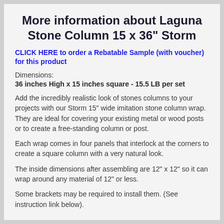More information about Laguna Stone Column 15 x 36" Storm
CLICK HERE to order a Rebatable Sample (with voucher) for this product
Dimensions:
36 inches High x 15 inches square - 15.5 LB per set
Add the incredibly realistic look of stones columns to your projects with our Storm 15" wide imitation stone column wrap. They are ideal for covering your existing metal or wood posts or to create a free-standing column or post.
Each wrap comes in four panels that interlock at the corners to create a square column with a very natural look.
The inside dimensions after assembling are 12" x 12" so it can wrap around any material of 12" or less.
Some brackets may be required to install them.  (See instruction link below).